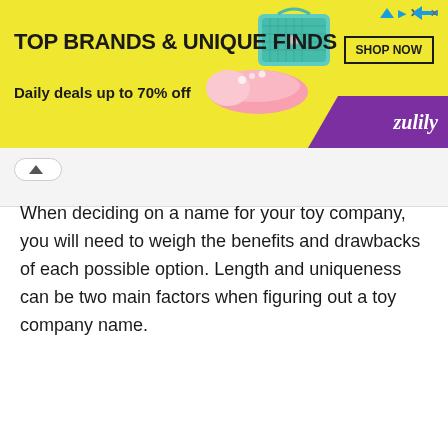[Figure (illustration): Zulily advertisement banner with yellow background. Text reads 'TOP BRANDS & UNIQUE FINDS' and 'Daily deals up to 70% off' with a 'SHOP NOW' button. Purple diagonal corner with 'zulily' branding. Shoe and handbag product images shown.]
When deciding on a name for your toy company, you will need to weigh the benefits and drawbacks of each possible option. Length and uniqueness can be two main factors when figuring out a toy company name.